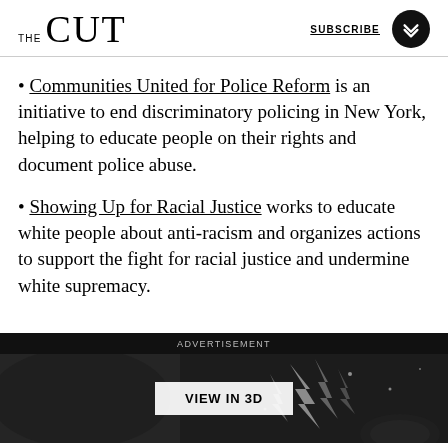THE CUT — SUBSCRIBE
• Communities United for Police Reform is an initiative to end discriminatory policing in New York, helping to educate people on their rights and document police abuse.
• Showing Up for Racial Justice works to educate white people about anti-racism and organizes actions to support the fight for racial justice and undermine white supremacy.
[Figure (photo): Advertisement banner with dark background, lightning/sparkle decorative elements, and a 'VIEW IN 3D' button]